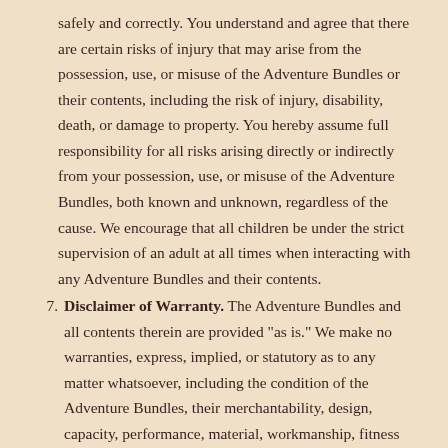safely and correctly. You understand and agree that there are certain risks of injury that may arise from the possession, use, or misuse of the Adventure Bundles or their contents, including the risk of injury, disability, death, or damage to property. You hereby assume full responsibility for all risks arising directly or indirectly from your possession, use, or misuse of the Adventure Bundles, both known and unknown, regardless of the cause. We encourage that all children be under the strict supervision of an adult at all times when interacting with any Adventure Bundles and their contents.
7. Disclaimer of Warranty. The Adventure Bundles and all contents therein are provided "as is." We make no warranties, express, implied, or statutory as to any matter whatsoever, including the condition of the Adventure Bundles, their merchantability, design, capacity, performance, material, workmanship, fitness for any particular purpose, or that they will meet the requirements of any buyer.